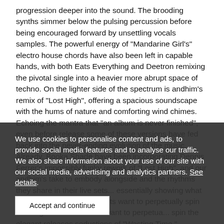progression deeper into the sound. The brooding synths simmer below the pulsing percussion before being encouraged forward by unsettling vocals samples. The powerful energy of "Mandarine Girl's" electro house chords have also been left in capable hands, with both Eats Everything and Deetron remixing the pivotal single into a heavier more abrupt space of techno. On the lighter side of the spectrum is andhim's remix of "Lost High", offering a spacious soundscape with the hums of nature and comforting wind chimes. Echoing the mantra that "an album is never finished", even before release some of these versions have fed back into the never-ending evolution of the music. Already, Booka Shade have been incorporating Dennis Ferrer's impossibly funky rework of "Lost High", and our andhim's take to embody alongside and the rhythms they share in their live sets... essentially showing what the music and its participants want to perpetually spin the elegant collaborators. want to perpetua... spin the elegant releases seductions of "Wasting Time."
We use cookies to personalise content and ads, to provide social media features and to analyse our traffic. We also share information about your use of our site with our social media, advertising and analytics partners. See details.